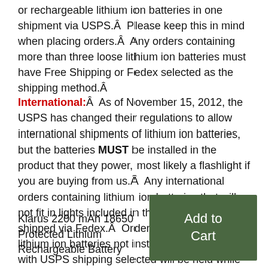or rechargeable lithium ion batteries in one shipment via USPS.Â  Please keep this in mind when placing orders.Â  Any orders containing more than three loose lithium ion batteries must have Free Shipping or Fedex selected as the shipping method.Â
International:Â  As of November 15, 2012, the USPS has changed their regulations to allow international shipments of lithium ion batteries, but the batteries MUST be installed in the product that they power, most likely a flashlight if you are buying from us.Â  Any international orders containing lithium ion batteries that will not fit in lights included in the order must be shipped via Fedex.Â  Orders that contain loose lithium ion batteries not installed in a flashlight with USPS shipping selected will be held while we contact you about shipping options.
Klarus 2200 mAh 18650 Protected Lithium Rechargeable Battery
Add to Cart